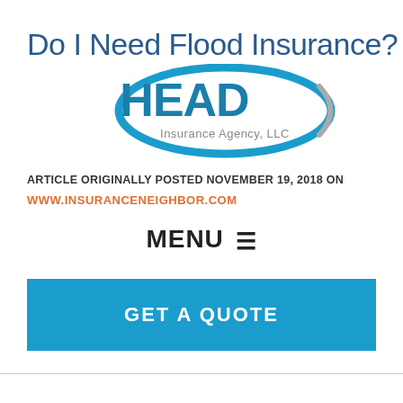Do I Need Flood Insurance?
[Figure (logo): HEAD Insurance Agency, LLC logo with teal/blue oval ring around HEAD text]
ARTICLE ORIGINALLY POSTED NOVEMBER 19, 2018 ON
WWW.INSURANCENEIGHBOR.COM
MENU ☰
GET A QUOTE